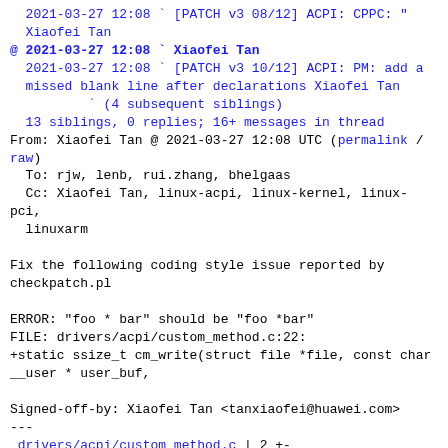2021-03-27 12:08 ` [PATCH v3 08/12] ACPI: CPPC: " Xiaofei Tan
@ 2021-03-27 12:08 ` Xiaofei Tan
  2021-03-27 12:08 ` [PATCH v3 10/12] ACPI: PM: add a missed blank line after declarations Xiaofei Tan
          ` (4 subsequent siblings)
  13 siblings, 0 replies; 16+ messages in thread
From: Xiaofei Tan @ 2021-03-27 12:08 UTC (permalink / raw)
  To: rjw, lenb, rui.zhang, bhelgaas
  Cc: Xiaofei Tan, linux-acpi, linux-kernel, linux-pci, linuxarm

Fix the following coding style issue reported by checkpatch.pl

ERROR: "foo * bar" should be "foo *bar"
FILE: drivers/acpi/custom_method.c:22:
+static ssize_t cm_write(struct file *file, const char __user * user_buf,

Signed-off-by: Xiaofei Tan <tanxiaofei@huawei.com>
---
 drivers/acpi/custom_method.c | 2 +-
 1 file changed, 1 insertion(+), 1 deletion(-)

diff --git a/drivers/acpi/custom_method.c b/drivers/acpi/custom_method.c
index 7b54dc9..443fdf62 100644
--- a/drivers/acpi/custom_method.c